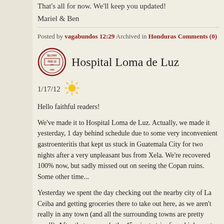That's all for now. We'll keep you updated!
Mariel & Ben
Posted by vagabundos 12:29 Archived in Honduras Comments (0)
Hospital Loma de Luz
1/17/12
Hello faithful readers!
We've made it to Hospital Loma de Luz. Actually, we made it yesterday, 1 day behind schedule due to some very inconvenient gastroenteritis that kept us stuck in Guatemala City for two nights after a very unpleasant bus from Xela. We're recovered 100% now, but sadly missed out on seeing the Copan ruins. Some other time...
Yesterday we spent the day checking out the nearby city of La Ceiba and getting groceries there to take out here, as we aren't really in any town (and all the surrounding towns are pretty small). After that, we made the 45 minute trip, from highway to paved road and finally to dirt road, and arrived at the hospital. It's on a dirt road that runs parallel to the ocean, about 1/4 mile away. There are small villages dotting the road every...